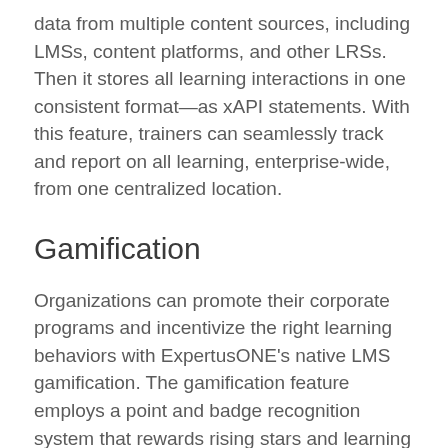data from multiple content sources, including LMSs, content platforms, and other LRSs. Then it stores all learning interactions in one consistent format—as xAPI statements. With this feature, trainers can seamlessly track and report on all learning, enterprise-wide, from one centralized location.
Gamification
Organizations can promote their corporate programs and incentivize the right learning behaviors with ExpertusONE's native LMS gamification. The gamification feature employs a point and badge recognition system that rewards rising stars and learning leaders across the organization. It creates a fun, competitive atmosphere where learning thrives. Users can customize badges to align with the company's branding and initiatives to maximize training adoption.